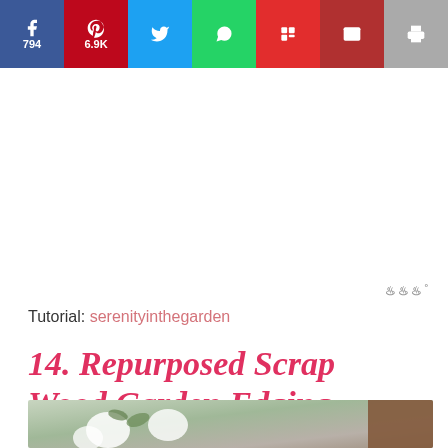Share bar: Facebook 794, Pinterest 6.9K, Twitter, WhatsApp, Flipboard, Email, Print
Tutorial: serenityinthegarden
14. Repurposed Scrap Wood Garden Edging
[Figure (photo): White roses/flowers against a blurred grey background with a brown wooden post visible on the right]